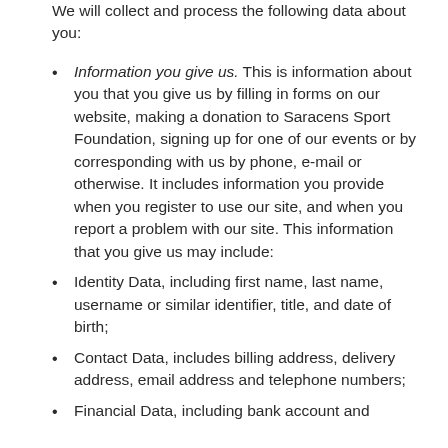We will collect and process the following data about you:
Information you give us. This is information about you that you give us by filling in forms on our website, making a donation to Saracens Sport Foundation, signing up for one of our events or by corresponding with us by phone, e-mail or otherwise. It includes information you provide when you register to use our site, and when you report a problem with our site. This information that you give us may include:
Identity Data, including first name, last name, username or similar identifier, title, and date of birth;
Contact Data, includes billing address, delivery address, email address and telephone numbers;
Financial Data, including bank account and